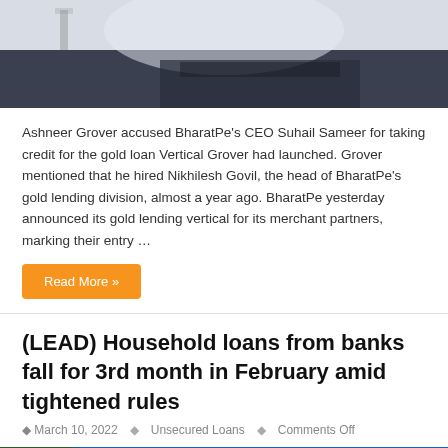[Figure (photo): Top portion of a photo showing a person in a white shirt against a light background with some decorative items on a surface]
Ashneer Grover accused BharatPe's CEO Suhail Sameer for taking credit for the gold loan Vertical Grover had launched. Grover mentioned that he hired Nikhilesh Govil, the head of BharatPe's gold lending division, almost a year ago. BharatPe yesterday announced its gold lending vertical for its merchant partners, marking their entry …
Read More »
(LEAD) Household loans from banks fall for 3rd month in February amid tightened rules
March 10, 2022   Unsecured Loans   Comments Off
[Figure (photo): Photo of a Korean bank signage with large white Korean characters on a blue background, with a green tree visible on the left side]